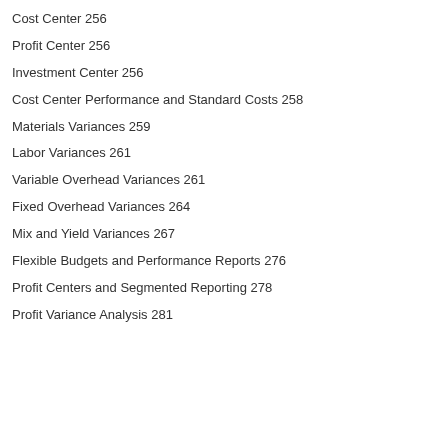Cost Center 256
Profit Center 256
Investment Center 256
Cost Center Performance and Standard Costs 258
Materials Variances 259
Labor Variances 261
Variable Overhead Variances 261
Fixed Overhead Variances 264
Mix and Yield Variances 267
Flexible Budgets and Performance Reports 276
Profit Centers and Segmented Reporting 278
Profit Variance Analysis 281